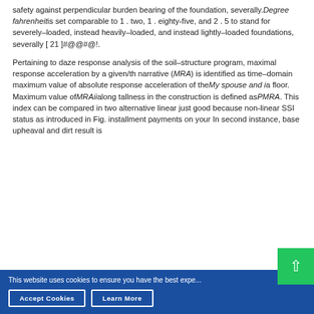safety against perpendicular burden bearing of the foundation, severally. Degree fahrenheit is set comparable to 1 . two, 1 . eighty-five, and 2 . 5 to stand for severely–loaded, instead heavily–loaded, and instead lightly–loaded foundations, severally [ 21 ]#@@#@!.
Pertaining to daze response analysis of the soil–structure program, maximal response acceleration by a given/th narrative (MRA) is identified as time–domain maximum value of absolute response acceleration of the My spouse and i a floor. Maximum value of MRAii along tallness in the construction is defined as PMRA. This index can be compared in two alternative linear just good because non-linear SSI status as introduced in Fig. installment payments on your In second instance, base upheaval and dirt result is
This website uses cookies to ensure you have the best expe...